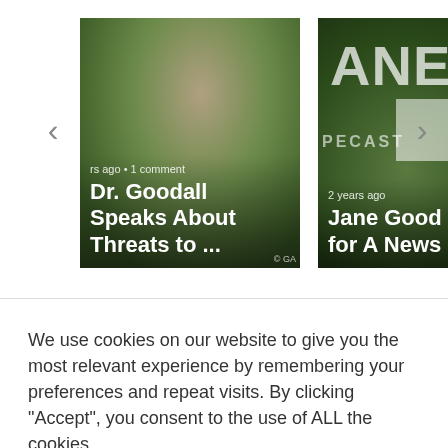[Figure (screenshot): Image carousel showing two article cards. Left card: photo of Dr. Goodall in a garden, with overlay text 'rs ago • 1 comment' and title 'Dr. Goodall Speaks About Threats to ...'. Right card: Jane Goodall branded image with overlay '2 years ago' and title 'Jane Good Good for A News'. Navigation arrows on left and right.]
We use cookies on our website to give you the most relevant experience by remembering your preferences and repeat visits. By clicking "Accept", you consent to the use of ALL the cookies.
Cookie settings
ACCEPT